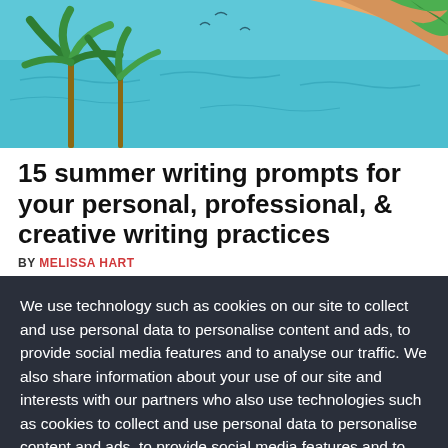[Figure (illustration): Tropical summer illustration with teal ocean water, palm trees with green leaves, sandy beach with orange/tan tones, seagulls in sky]
15 summer writing prompts for your personal, professional, & creative writing practices
BY MELISSA HART
We use technology such as cookies on our site to collect and use personal data to personalise content and ads, to provide social media features and to analyse our traffic. We also share information about your use of our site and interests with our partners who also use technologies such as cookies to collect and use personal data to personalise content and ads, to provide social media features and to analyse our traffic on our site and across the internet. You can always change your mind and revisit your choices.
Manage Options
I Accept